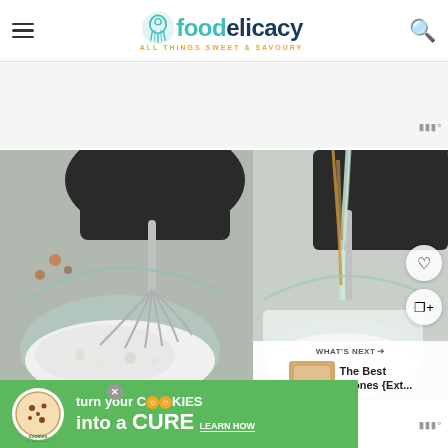foodelicacy - ALL THINGS SWEET & SAVOURY
[Figure (photo): Close-up photo of a stand mixer whisk attachment whipping cream or egg whites in a glass bowl, with bubbly white foam]
[Figure (photo): Close-up photo of liquid being poured into a stand mixer bowl with whipped contents, with heart and share action icons overlay and a What's Next panel showing The Best Scones thumbnail]
[Figure (photo): Advertisement banner: cookies for kids cancer - turn your COOKIES into a CURE LEARN HOW]